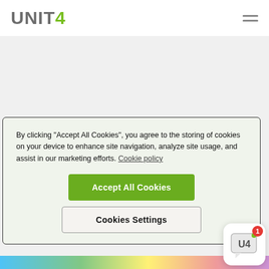[Figure (logo): UNIT4 logo with '4' in green]
[Figure (illustration): Hamburger menu icon (three horizontal lines) in top right corner]
By clicking "Accept All Cookies", you agree to the storing of cookies on your device to enhance site navigation, analyze site usage, and assist in our marketing efforts. Cookie policy
Accept All Cookies
Cookies Settings
[Figure (illustration): U4 chat widget icon with red badge showing '1' in bottom right corner]
Hey I Can I help you find something?